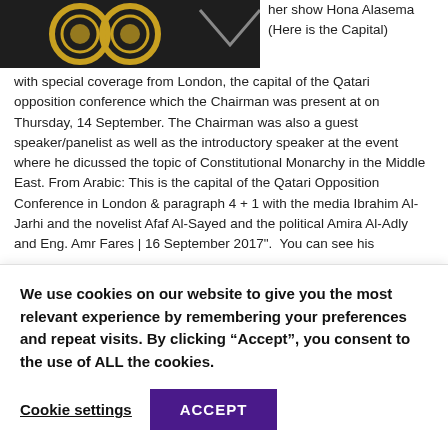[Figure (photo): Dark background image with golden circular logo/emblem shapes and what appears to be a decorative element on the right side]
her show Hona Alasema (Here is the Capital) with special coverage from London, the capital of the Qatari opposition conference which the Chairman was present at on Thursday, 14 September. The Chairman was also a guest speaker/panelist as well as the introductory speaker at the event where he dicussed the topic of Constitutional Monarchy in the Middle East. From Arabic: This is the capital of the Qatari Opposition Conference in London & paragraph 4 + 1 with the media Ibrahim Al-Jarhi and the novelist Afaf Al-Sayed and the political Amira Al-Adly and Eng. Amr Fares | 16 September 2017".  You can see his
We use cookies on our website to give you the most relevant experience by remembering your preferences and repeat visits. By clicking “Accept”, you consent to the use of ALL the cookies.
Cookie settings
ACCEPT